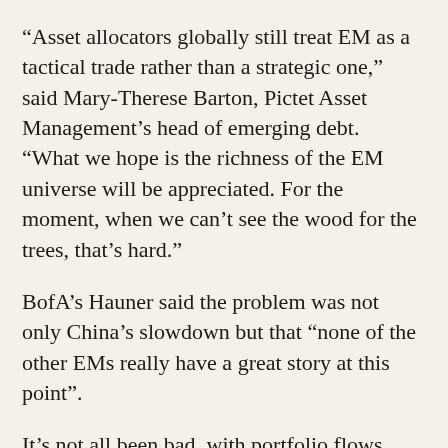“Asset allocators globally still treat EM as a tactical trade rather than a strategic one,” said Mary-Therese Barton, Pictet Asset Management’s head of emerging debt. “What we hope is the richness of the EM universe will be appreciated. For the moment, when we can’t see the wood for the trees, that’s hard.”
BofA’s Hauner said the problem was not only China’s slowdown but that “none of the other EMs really have a great story at this point”.
It’s not all been bad, with portfolio flows holding up.
Total 2021 emerging market inflows reached $366 billion by the end of November, more than 80% of those into fixed income, Institute of International Finance data shows.